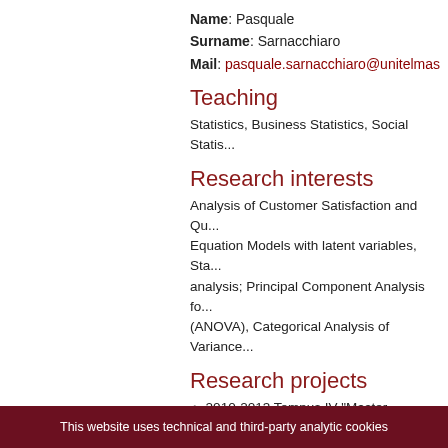Name: Pasquale
Surname: Sarnacchiaro
Mail: pasquale.sarnacchiaro@unitelmas...
Teaching
Statistics, Business Statistics, Social Statis...
Research interests
Analysis of Customer Satisfaction and Qu... Equation Models with latent variables, Sta... analysis; Principal Component Analysis fo... (ANOVA), Categorical Analysis of Variance...
Research projects
2010-2013 Tempus IV "Master programm... 2010 - RS - TEMPUS JPCR
Selected publications
1. D'Ambra A., Crisci A., Sarnacchiaro P. (20...
This website uses technical and third-party analytic cookies